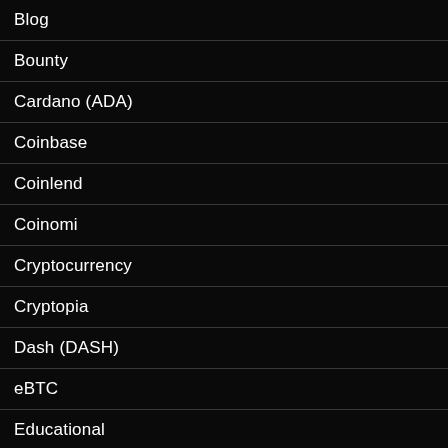Blog
Bounty
Cardano (ADA)
Coinbase
Coinlend
Coinomi
Cryptocurrency
Cryptopia
Dash (DASH)
eBTC
Educational
Electrum